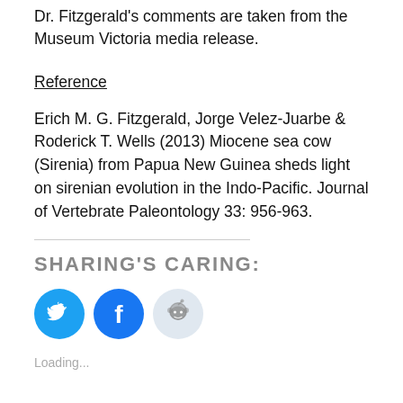Dr. Fitzgerald's comments are taken from the Museum Victoria media release.
Reference
Erich M. G. Fitzgerald, Jorge Velez-Juarbe & Roderick T. Wells (2013) Miocene sea cow (Sirenia) from Papua New Guinea sheds light on sirenian evolution in the Indo-Pacific. Journal of Vertebrate Paleontology 33: 956-963.
SHARING'S CARING:
[Figure (illustration): Three circular social media share buttons: Twitter (blue with bird icon), Facebook (blue with f icon), Reddit (light grey/blue with alien icon)]
Loading...